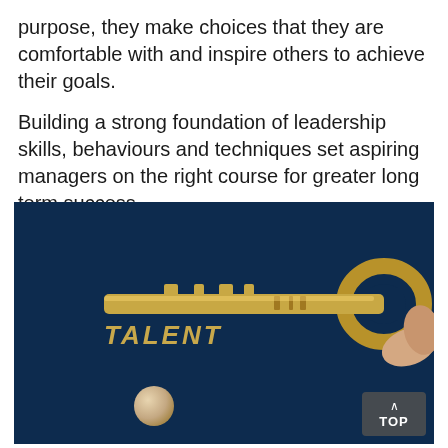purpose, they make choices that they are comfortable with and inspire others to achieve their goals.

Building a strong foundation of leadership skills, behaviours and techniques set aspiring managers on the right course for greater long term success.
[Figure (photo): Photo on dark navy background showing a gold key with the word TALENT engraved on it, held by a hand on the right side, with a small wooden ball at the bottom. A 'TOP' navigation button appears in the bottom-right corner.]